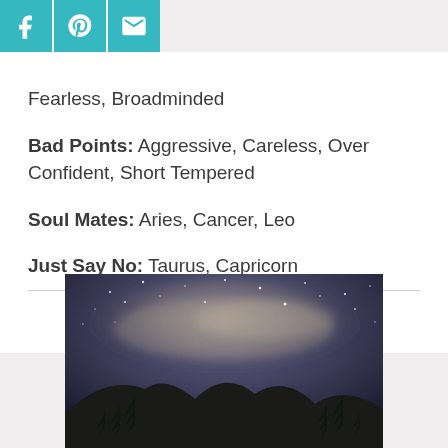[Figure (other): Social sharing icons bar: Facebook (f), Pinterest (p), Email (envelope), all teal/cyan colored]
Fearless, Broadminded
Bad Points: Aggressive, Careless, Over Confident, Short Tempered
Soul Mates: Aries, Cancer, Leo
Just Say No: Taurus, Capricorn
You Might Also Like
[Figure (photo): Night sky photograph showing the Milky Way with stars, clouds, and silhouettes of trees and mountains in the foreground]